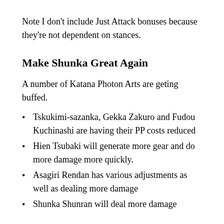Note I don’t include Just Attack bonuses because they’re not dependent on stances.
Make Shunka Great Again
A number of Katana Photon Arts are geting buffed.
Tskukimi-sazanka, Gekka Zakuro and Fudou Kuchinashi are having their PP costs reduced
Hien Tsubaki will generate more gear and do more damage more quickly.
Asagiri Rendan has various adjustments as well as dealing more damage
Shunka Shunran will deal more damage